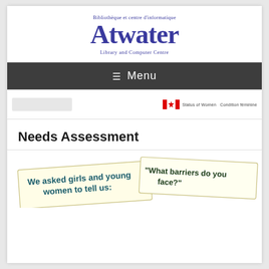[Figure (logo): Atwater Library and Computer Centre logo with bilingual text: Bibliothèque et centre d'informatique Atwater Library and Computer Centre]
≡  Menu
[Figure (logo): Status of Women Canada / Condition féminine Canada logo on the right side, with a blurred document thumbnail on the left]
Needs Assessment
[Figure (photo): Cards/sticky notes image showing text: 'We asked girls and young women to tell us:' and '"What barriers do you face?"']